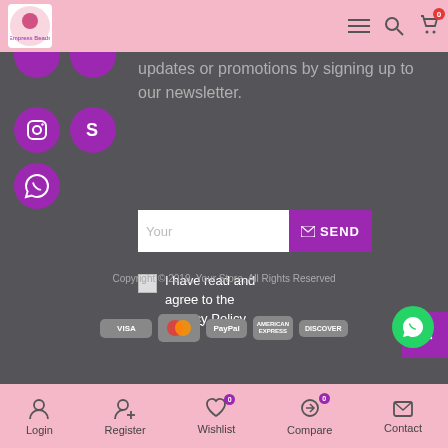[Figure (screenshot): E-commerce website footer page showing social media icons, newsletter signup, payment methods, and bottom navigation bar with Login, Register, Wishlist, Compare, Contact]
updates or promotions by signing up to our newsletter.
Your  SEND
I have read and agree to the Privacy Policy
Copyright © 2019, Your Store, All Rights Reserved
VISA  Mastercard  PayPal  AMERICAN EXPRESS  DISCOVER
Login  Register  Wishlist 0  Compare 0  Contact